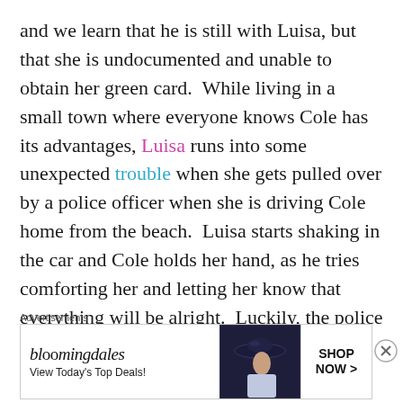and we learn that he is still with Luisa, but that she is undocumented and unable to obtain her green card.  While living in a small town where everyone knows Cole has its advantages, Luisa runs into some unexpected trouble when she gets pulled over by a police officer when she is driving Cole home from the beach.  Luisa starts shaking in the car and Cole holds her hand, as he tries comforting her and letting her know that everything will be alright.  Luckily, the police officer gets another call that he needs to respond to and
Advertisements
[Figure (other): Bloomingdales advertisement banner showing logo, 'View Today's Top Deals!' tagline, a woman in a wide-brim hat, and 'SHOP NOW >' call to action button]